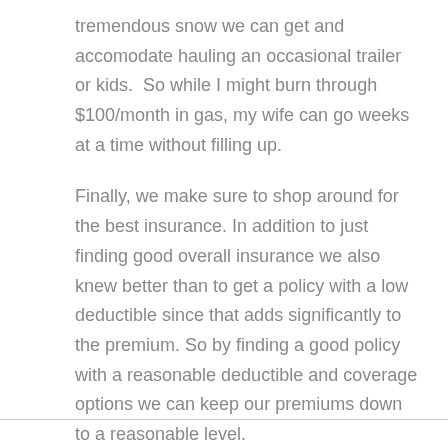tremendous snow we can get and accomodate hauling an occasional trailer or kids.  So while I might burn through $100/month in gas, my wife can go weeks at a time without filling up.
Finally, we make sure to shop around for the best insurance. In addition to just finding good overall insurance we also knew better than to get a policy with a low deductible since that adds significantly to the premium. So by finding a good policy with a reasonable deductible and coverage options we can keep our premiums down to a reasonable level.